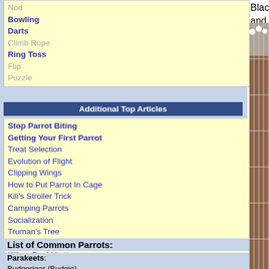Black Lory with a bad leg. Despite the injury and was eager to be handled by everyone.
Nod
Bowling
Darts
Climb Rope
Ring Toss
Flip
Puzzle
Additional Top Articles
Stop Parrot Biting
Getting Your First Parrot
Treat Selection
Evolution of Flight
Clipping Wings
How to Put Parrot In Cage
Kili's Stroller Trick
Camping Parrots
Socialization
Truman's Tree
Parrot Wizard Seminar
Kili on David Letterman
Cape Parrot Review
Roudybush Pellets
List of Common Parrots:
Parakeets:
Budgerigar (Budgie)
Alexandrine Parakeet
African Ringneck
[Figure (photo): Photo of white cockatoos perched on top of a wire mesh enclosure/aviary, with brown dirt ground visible below through the wire grid. The cage structure is made of metal poles and wire mesh.]